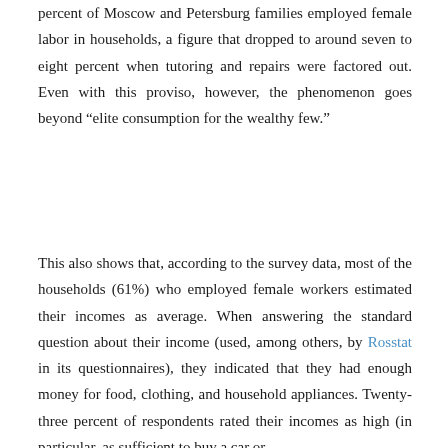percent of Moscow and Petersburg families employed female labor in households, a figure that dropped to around seven to eight percent when tutoring and repairs were factored out. Even with this proviso, however, the phenomenon goes beyond “elite consumption for the wealthy few.”
This also shows that, according to the survey data, most of the households (61%) who employed female workers estimated their incomes as average. When answering the standard question about their income (used, among others, by Rosstat in its questionnaires), they indicated that they had enough money for food, clothing, and household appliances. Twenty-three percent of respondents rated their incomes as high (in particular, as sufficient to buy a car or